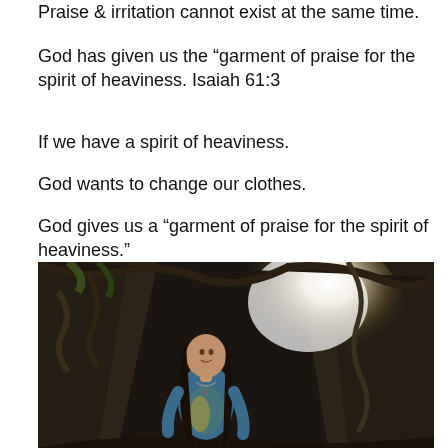Praise & irritation cannot exist at the same time.
God has given us the “garment of praise for the spirit of heaviness. Isaiah 61:3
If we have a spirit of heaviness.
God wants to change our clothes.
God gives us a “garment of praise for the spirit of heaviness.”
[Figure (photo): A woman standing inside a rocky cave with bright light shining in from behind/side, wearing a blue top, with long dark hair, looking upward.]